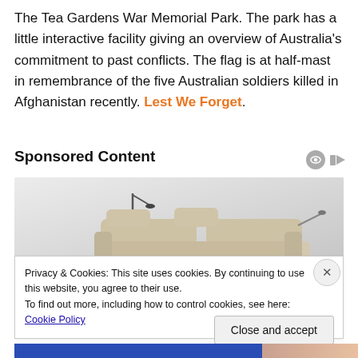The Tea Gardens War Memorial Park. The park has a little interactive facility giving an overview of Australia's commitment to past conflicts. The flag is at half-mast in remembrance of the five Australian soldiers killed in Afghanistan recently. Lest We Forget.
Sponsored Content
[Figure (photo): Advertisement image showing a beige/cream colored sofa/recliner furniture on a light gray gradient background]
Privacy & Cookies: This site uses cookies. By continuing to use this website, you agree to their use.
To find out more, including how to control cookies, see here: Cookie Policy
Close and accept